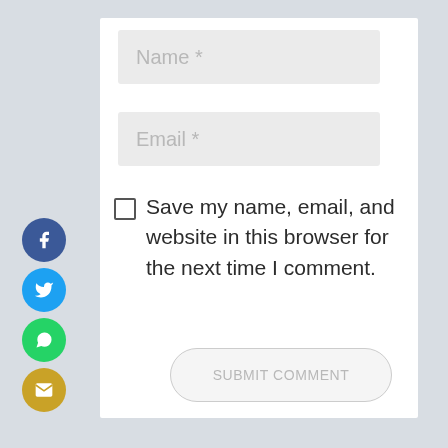[Figure (screenshot): Web comment form with Name and Email input fields, a save-my-info checkbox, and a Submit Comment button. Social share icons (Facebook, Twitter, WhatsApp, Email) are on the left side.]
Name *
Email *
Save my name, email, and website in this browser for the next time I comment.
SUBMIT COMMENT